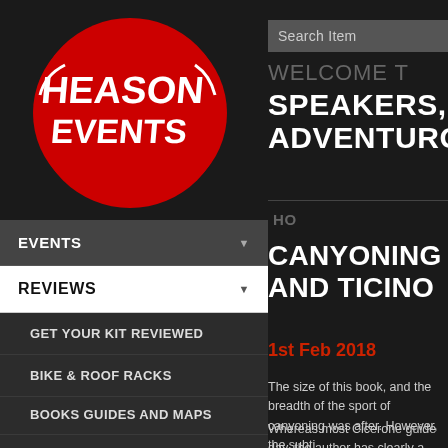[Figure (logo): Heason Events logo — red circular badge with white bold text HEASON EVENTS]
EVENTS
REVIEWS
GET YOUR KIT REVIEWED
BIKE & ROOF RACKS
BOOKS GUIDES AND MAPS
BOOTS AND SHOES
CAMPING
Search Item
WELCOME T
SPEAKERS, ADVENTURO
HO
CANYONING AND TICINO
1st Feb 2018
The size of this book, and the breadth of the sport of canyoning was after. However, the subti
Whereas most Cicerone guide day, the author has clearly a